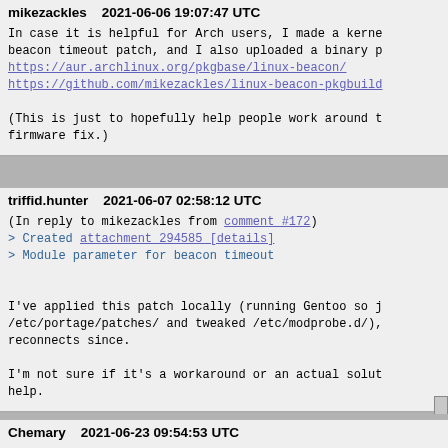mikezackles    2021-06-06 19:07:47 UTC
In case it is helpful for Arch users, I made a kerne beacon timeout patch, and I also uploaded a binary p https://aur.archlinux.org/pkgbase/linux-beacon/ https://github.com/mikezackles/linux-beacon-pkgbuild (This is just to hopefully help people work around t firmware fix.)
triffid.hunter    2021-06-07 02:58:12 UTC
(In reply to mikezackles from comment #172) > Created attachment 294585 [details] > Module parameter for beacon timeout I've applied this patch locally (running Gentoo so j /etc/portage/patches/ and tweaked /etc/modprobe.d/), reconnects since. I'm not sure if it's a workaround or an actual solut help.
Chemary    2021-06-23 09:54:53 UTC
(In reply to mikezackles from comment #252) > In case it is helpful for Arch users, I made a ker